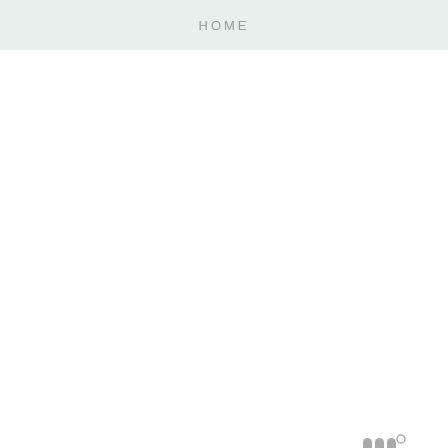HOME
[Figure (logo): Watermark logo in gray showing stylized 'w' letters with a superscript circle]
SHARE
19 January 2015
FOOTBALL INSPIRED PARTY IDEAS, RECIPE & CRAFTS